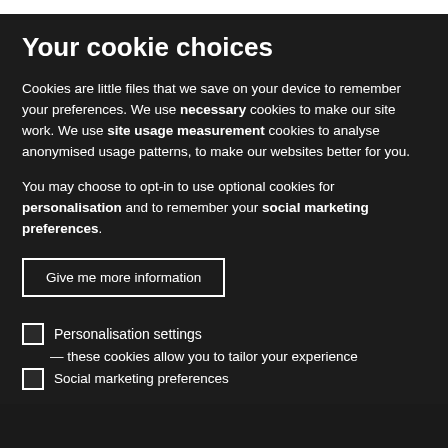Your cookie choices
Cookies are little files that we save on your device to remember your preferences. We use necessary cookies to make our site work. We use site usage measurement cookies to analyse anonymised usage patterns, to make our websites better for you.
You may choose to opt-in to use optional cookies for personalisation and to remember your social marketing preferences.
Give me more information
Personalisation settings — these cookies allow you to tailor your experience
Social marketing preferences